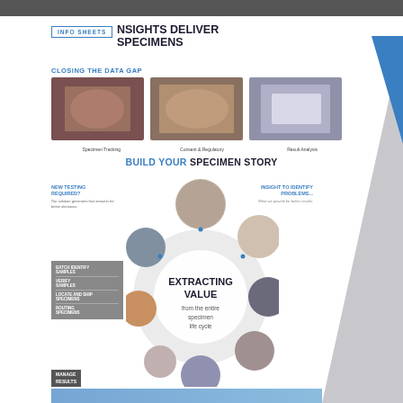INFO SHEETS — INSIGHTS DELIVER SPECIMENS
CLOSING THE DATA GAP
[Figure (photo): Three photo panels: Specimen Tracking (group of diverse people raising hands), Consent & Regulatory (family group portrait), Result Analysis (hands exchanging documents/tablet)]
Specimen Tracking    Consent & Regulatory    Result Analysis
BUILD YOUR SPECIMEN STORY
NEW TESTING REQUIRED? Our solution generates fast answers for better decisions.
INSIGHT TO IDENTIFY PROBLEMS... What we provide for better results.
[Figure (infographic): Circular lifecycle diagram titled EXTRACTING VALUE from the entire specimen life cycle, with circular photo vignettes showing various specimen/lab imagery surrounding the central text. Left sidebar shows gray tabs: BATCH IDENTIFY SAMPLES, VERIFY SAMPLES, LOCATE AND SHIP SPECIMENS, ROUTING SPECIMENS. Bottom labels: MANAGE RESULTS / TESTING OVERVIEW.]